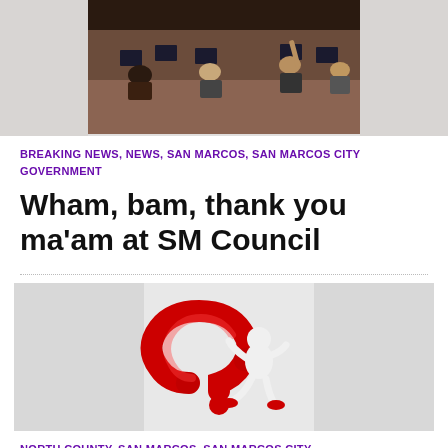[Figure (photo): People seated at a council chamber or boardroom, dark room with monitors visible]
BREAKING NEWS, NEWS, SAN MARCOS, SAN MARCOS CITY GOVERNMENT
Wham, bam, thank you ma'am at SM Council
[Figure (illustration): 3D white cartoon figure leaning on a large red question mark]
NORTH COUNTY, SAN MARCOS, SAN MARCOS CITY GOVERNMENT
Then there were 24 — SM council candidates